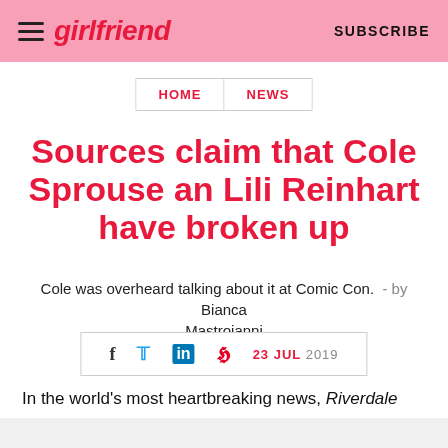girlfriend   SUBSCRIBE
HOME  NEWS
Sources claim that Cole Sprouse an Lili Reinhart have broken up
Cole was overheard talking about it at Comic Con. - by Bianca Mastroianni
f  (twitter)  in  p  23 JUL 2019
In the world's most heartbreaking news, Riverdale stars and fan-favourite couple Lili Reinhart and Cole Sprouse have split up after two years of dating.